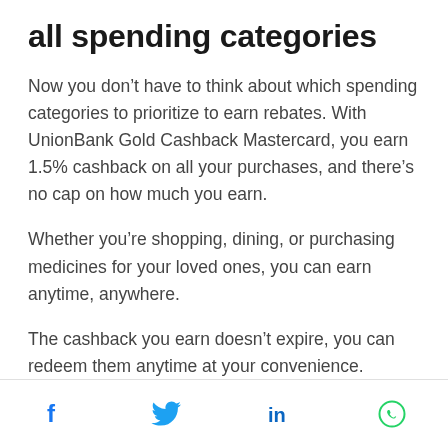all spending categories
Now you don’t have to think about which spending categories to prioritize to earn rebates. With UnionBank Gold Cashback Mastercard, you earn 1.5% cashback on all your purchases, and there’s no cap on how much you earn.
Whether you’re shopping, dining, or purchasing medicines for your loved ones, you can earn anytime, anywhere.
The cashback you earn doesn’t expire, you can redeem them anytime at your convenience.
Social share icons: Facebook, Twitter, LinkedIn, WhatsApp